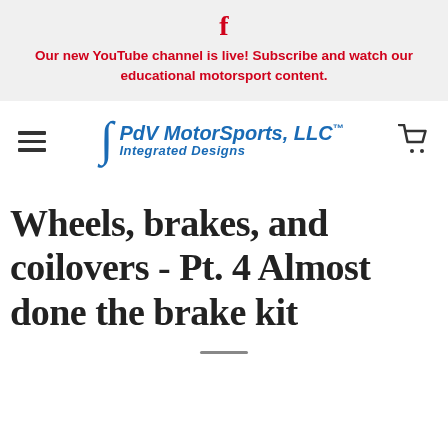f
Our new YouTube channel is live! Subscribe and watch our educational motorsport content.
[Figure (logo): PdV MotorSports, LLC Integrated Designs logo with integral symbol, hamburger menu icon on left, and shopping cart icon on right]
Wheels, brakes, and coilovers - Pt. 4 Almost done the brake kit